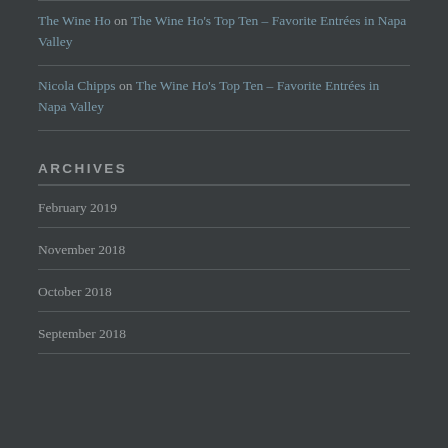The Wine Ho on The Wine Ho's Top Ten – Favorite Entrées in Napa Valley
Nicola Chipps on The Wine Ho's Top Ten – Favorite Entrées in Napa Valley
ARCHIVES
February 2019
November 2018
October 2018
September 2018